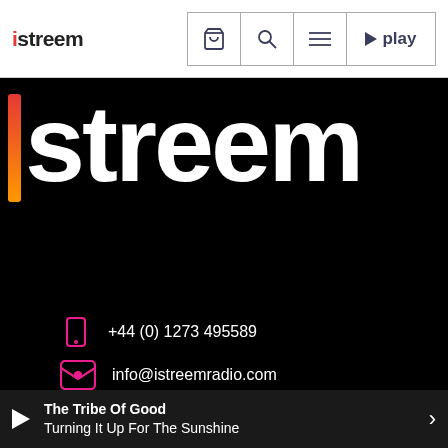istreem — nav bar with cart, search, menu, play buttons
[Figure (logo): istreem logo in large white bold text on black background with red-to-orange gradient vertical bar]
+44 (0) 1273 495589
info@istreemradio.com
+44 7903 717564
[Figure (other): Social media icons: Facebook, Twitter, Instagram]
The Tribe Of Good
Turning It Up For The Sunshine